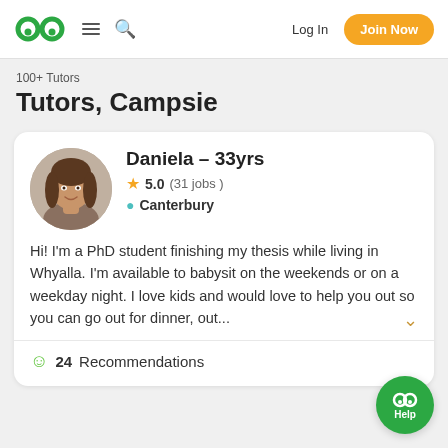Log In | Join Now
100+ Tutors
Tutors, Campsie
[Figure (photo): Profile photo of Daniela, a woman with long brown hair, circular avatar]
Daniela - 33yrs
5.0 (31 jobs )
Canterbury
Hi! I'm a PhD student finishing my thesis while living in Whyalla. I'm available to babysit on the weekends or on a weekday night. I love kids and would love to help you out so you can go out for dinner, out...
24 Recommendations